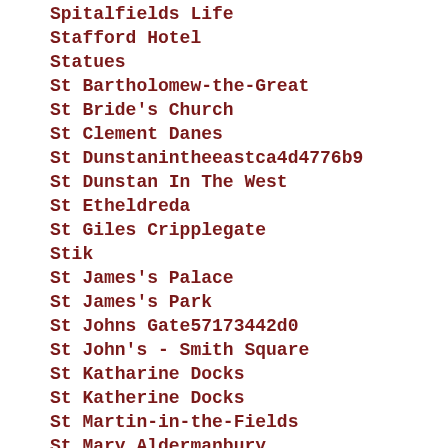Spitalfields Life
Stafford Hotel
Statues
St Bartholomew-the-Great
St Bride's Church
St Clement Danes
St Dunstanintheeastca4d4776b9
St Dunstan In The West
St Etheldreda
St Giles Cripplegate
Stik
St James's Palace
St James's Park
St Johns Gate57173442d0
St John's - Smith Square
St Katharine Docks
St Katherine Docks
St Martin-in-the-Fields
St Mary Aldermanbury